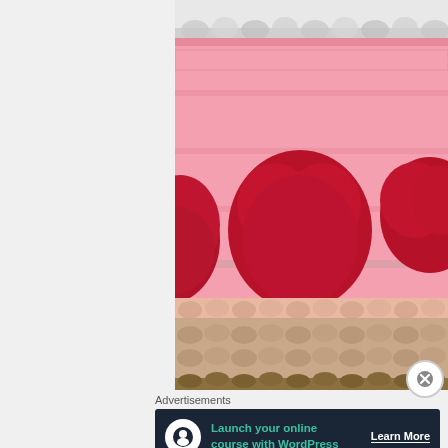[Figure (photo): Close-up photo of colorful crochet fabric with red/dark pink heart or polka dot motifs on a light pink background, with a tan/beige border section at the bottom. White area visible at top.]
Advertisements
[Figure (infographic): Advertisement banner with dark navy background: circular white icon with person/tree silhouette, teal text 'Launch your online course with WordPress', and white underlined 'Learn More' call to action button.]